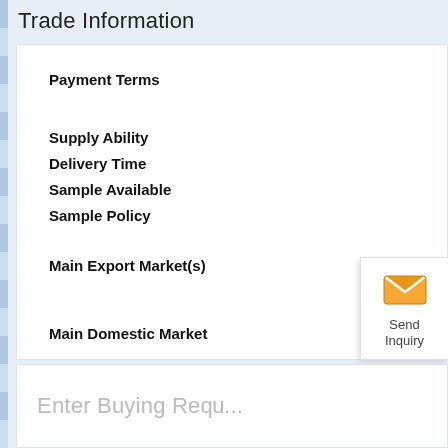Trade Information
| Payment Terms |  |
| Supply Ability |  |
| Delivery Time |  |
| Sample Available |  |
| Sample Policy |  |
| Main Export Market(s) |  |
| Main Domestic Market |  |
[Figure (infographic): Send Inquiry button with orange envelope mail icon and 'Send Inquiry' label]
Enter Buying Re...